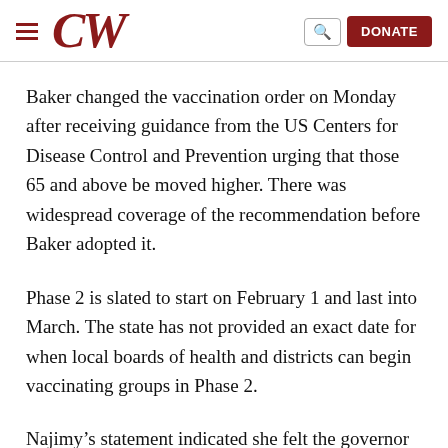CW — DONATE
Baker changed the vaccination order on Monday after receiving guidance from the US Centers for Disease Control and Prevention urging that those 65 and above be moved higher. There was widespread coverage of the recommendation before Baker adopted it.
Phase 2 is slated to start on February 1 and last into March. The state has not provided an exact date for when local boards of health and districts can begin vaccinating groups in Phase 2.
Najimy's statement indicated she felt the governor should be...